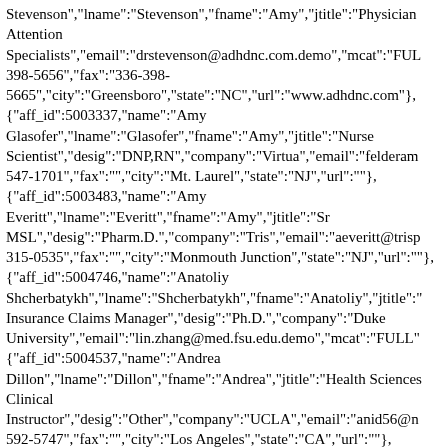Stevenson","lname":"Stevenson","fname":"Amy","jtitle":"Physician Attention Specialists","email":"drstevenson@adhdnc.com.demo","mcat":"FUL 398-5656","fax":"336-398-5665","city":"Greensboro","state":"NC","url":"www.adhdnc.com"}, {"aff_id":5003337,"name":"Amy Glasofer","lname":"Glasofer","fname":"Amy","jtitle":"Nurse Scientist","desig":"DNP,RN","company":"Virtua","email":"felderam 547-1701","fax":"","city":"Mt. Laurel","state":"NJ","url":""}, {"aff_id":5003483,"name":"Amy Everitt","lname":"Everitt","fname":"Amy","jtitle":"Sr MSL","desig":"Pharm.D.","company":"Tris","email":"aeveritt@trisp 315-0535","fax":"","city":"Monmouth Junction","state":"NJ","url":""}, {"aff_id":5004746,"name":"Anatoliy Shcherbatykh","lname":"Shcherbatykh","fname":"Anatoliy","jtitle": Insurance Claims Manager","desig":"Ph.D.","company":"Duke University","email":"lin.zhang@med.fsu.edu.demo","mcat":"FULL" {"aff_id":5004537,"name":"Andrea Dillon","lname":"Dillon","fname":"Andrea","jtitle":"Health Sciences Clinical Instructor","desig":"Other","company":"UCLA","email":"anid56@n 592-5747","fax":"","city":"Los Angeles","state":"CA","url":""}, {"aff_id":5000391,"name":"Andrei Masharin","lname":"Masharin","fname":"Andrei","jtitle":"Health Scientist","desig":"Prof. Dr.","company":"University of